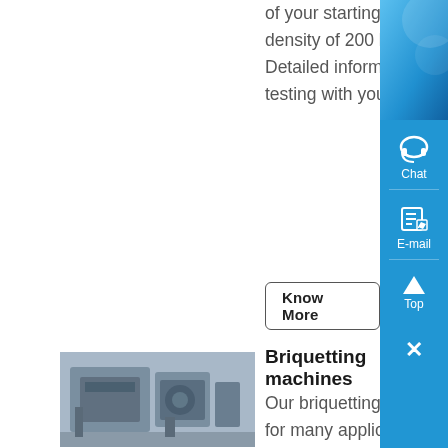of your starting material based on a bulk density of 200 kg per cubic metre Detailed information after successful testing with your material...
Know More
[Figure (photo): Industrial briquetting machine equipment photo]
Briquetting machines
Our briquetting machines can be used for many applications, where the best known are briquetting lines for consumer logs and industrial boilers Lately, we have been delivering many lines for the production of briquettes from agricultural residu More specialized applications include briquette lines for MDF, Wood fines, bedding for animals...